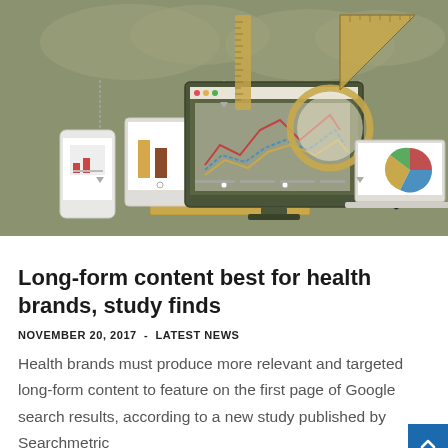[Figure (illustration): Flat-style digital marketing illustration showing a desktop monitor with a magnifying glass over a line chart, a laptop with a pie chart, two smartphones/tablets with bar charts, rulers, and cloud shapes in the background on a muted olive-green background.]
Long-form content best for health brands, study finds
NOVEMBER 20, 2017  -  LATEST NEWS
Health brands must produce more relevant and targeted long-form content to feature on the first page of Google search results, according to a new study published by Searchmetric...